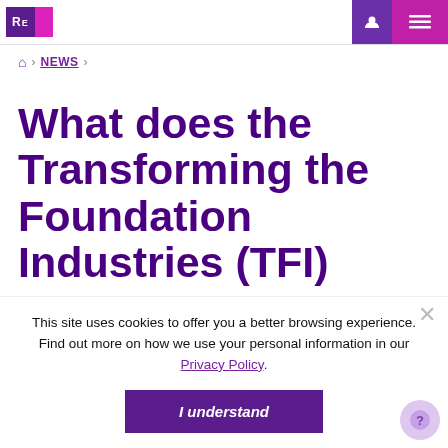UKRI News page header with logo and navigation icons
🏠 > NEWS >
What does the Transforming the Foundation Industries (TFI) Challenge mean for the Chemicals Sector?
This site uses cookies to offer you a better browsing experience. Find out more on how we use your personal information in our Privacy Policy.
I understand